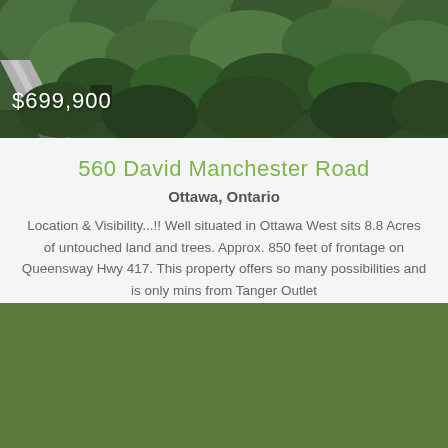[Figure (photo): Aerial drone photo of wooded land with a road cutting through dense forest, pine and deciduous trees, with price overlay $699,900]
560 David Manchester Road
Ottawa, Ontario
Location & Visibility...!! Well situated in Ottawa West sits 8.8 Acres of untouched land and trees. Approx. 850 feet of frontage on Queensway Hwy 417. This property offers so many possibilities and is only mins from Tanger Outlet
[Figure (photo): Photo of a house exterior heavily covered in vines and overgrown trees, with a white door visible, beige siding, and a FOR SALE green badge overlay in the top right corner. A Realtor logo/badge is visible in the top left.]